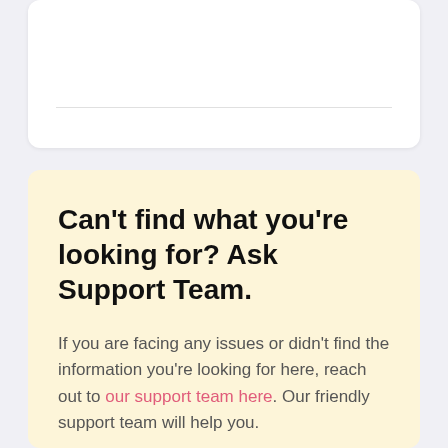Can't find what you're looking for? Ask Support Team.
If you are facing any issues or didn't find the information you're looking for here, reach out to our support team here. Our friendly support team will help you.